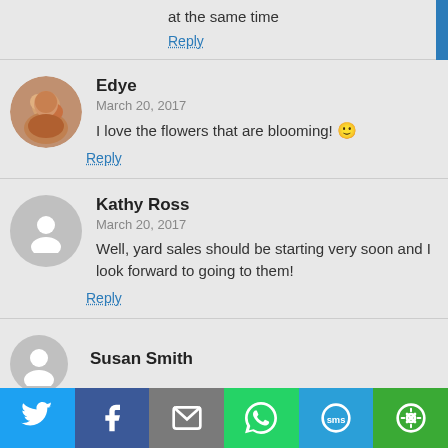at the same time
Reply
Edye
March 20, 2017
I love the flowers that are blooming! 🙂
Reply
Kathy Ross
March 20, 2017
Well, yard sales should be starting very soon and I look forward to going to them!
Reply
Susan Smith